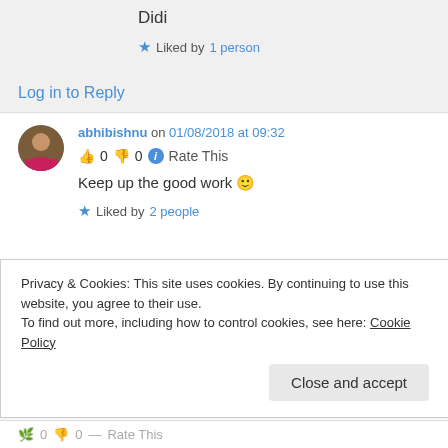Didi
★ Liked by 1 person
Log in to Reply
abhibishnu on 01/08/2018 at 09:32
👍 0 👎 0 ℹ Rate This
Keep up the good work 🙂
★ Liked by 2 people
Privacy & Cookies: This site uses cookies. By continuing to use this website, you agree to their use.
To find out more, including how to control cookies, see here: Cookie Policy
Close and accept
0  0  Rate This